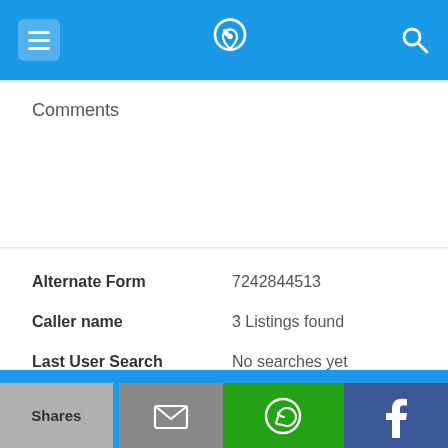[Figure (screenshot): Mobile app top navigation bar with hamburger menu, phone/location icon, and search icon on blue background]
Comments
724-284-4513
| Alternate Form | 7242844513 |
| Caller name | 3 Listings found |
| Last User Search | No searches yet |
Comments
[Figure (screenshot): Bottom share bar with Shares label, mail icon, WhatsApp icon on green, Facebook icon on dark blue]